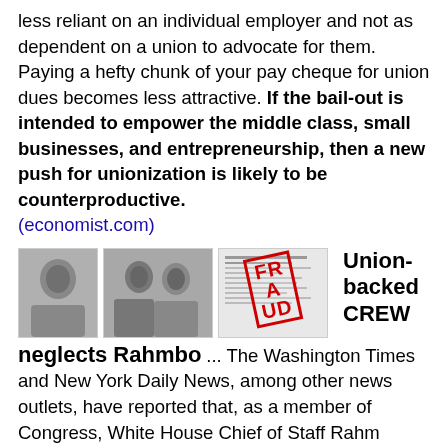less reliant on an individual employer and not as dependent on a union to advocate for them. Paying a hefty chunk of your pay cheque for union dues becomes less attractive. If the bail-out is intended to empower the middle class, small businesses, and entrepreneurship, then a new push for unionization is likely to be counterproductive. (economist.com)
[Figure (photo): Three thumbnail images: a black-and-white photo of an older man, a black-and-white photo of two men facing each other, and a document image with a red FRAUD stamp overlay.]
Union-backed CREW neglects Rahmbo ... The Washington Times and New York Daily News, among other news outlets, have reported that, as a member of Congress, White House Chief of Staff Rahm Emanuel received rent-free accommodations from Representative Rosa DeLauro for five years, raising the question of whether Emanuel properly complied with gift rules for House members and whether he should have paid taxes on the imputed income of the gift. Last summer, liberals went after Republican Senator Norm Coleman for paying an allegedly below-market rate for his Capitol Hill apartment, with the George Soros-funded